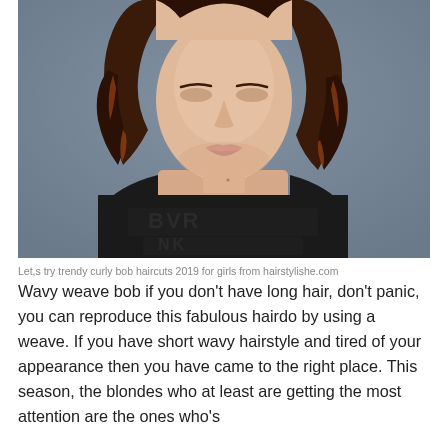[Figure (photo): Portrait photo of a young woman with short wavy/curly auburn-highlighted bob hair, wearing a black top with embossed text/logo, photographed against a grey background.]
Let,s try trendy curly bob haircuts 2019 for girls from hairstylishe.com
Wavy weave bob if you don't have long hair, don't panic, you can reproduce this fabulous hairdo by using a weave. If you have short wavy hairstyle and tired of your appearance then you have came to the right place. This season, the blondes who at least are getting the most attention are the ones who's